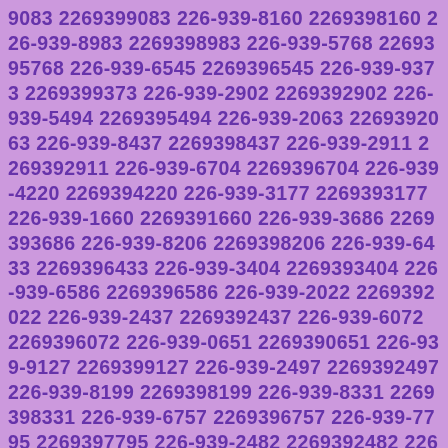9083 2269399083 226-939-8160 2269398160 226-939-8983 2269398983 226-939-5768 2269395768 226-939-6545 2269396545 226-939-9373 2269399373 226-939-2902 2269392902 226-939-5494 2269395494 226-939-2063 2269392063 226-939-8437 2269398437 226-939-2911 2269392911 226-939-6704 2269396704 226-939-4220 2269394220 226-939-3177 2269393177 226-939-1660 2269391660 226-939-3686 2269393686 226-939-8206 2269398206 226-939-6433 2269396433 226-939-3404 2269393404 226-939-6586 2269396586 226-939-2022 2269392022 226-939-2437 2269392437 226-939-6072 2269396072 226-939-0651 2269390651 226-939-9127 2269399127 226-939-2497 2269392497 226-939-8199 2269398199 226-939-8331 2269398331 226-939-6757 2269396757 226-939-7795 2269397795 226-939-2482 2269392482 226-939-8785 2269398785 226-939-2812 2269392812 226-939-9939 2269399939 226-939-7918 2269397918 226-939-1387 2269391387 226-939-5386 2269395386 226-939-0474 2269390474 226-939-3347 2269393347 226-939-7477 2269397477 226-939-5133 2269395133 226-939-4650 2269394650 226-939-